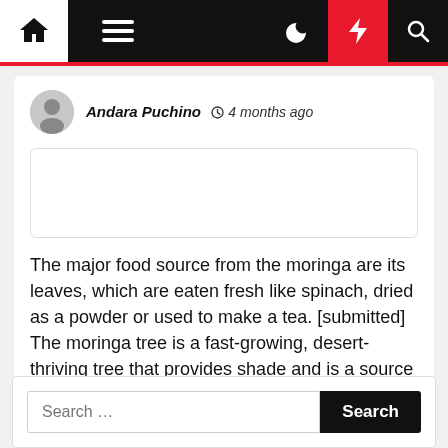Navigation bar with home, menu, moon, bolt, and search icons
Andara Puchino  4 months ago
[Figure (other): Empty image placeholder box with rounded border]
The major food source from the moringa are its leaves, which are eaten fresh like spinach, dried as a powder or used to make a tea. [submitted] The moringa tree is a fast-growing, desert-thriving tree that provides shade and is a source of highly nutritious greens. Many trees are noted [...]